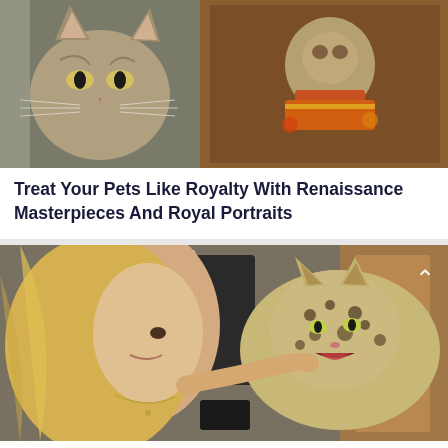[Figure (photo): Close-up photo of a tabby cat looking up at the camera, next to a Renaissance-style royal portrait painting of a cat dressed in ornate clothing]
Treat Your Pets Like Royalty With Renaissance Masterpieces And Royal Portraits
[Figure (photo): Photo of a blonde woman looking at a large African serval wildcat (spotted, large-eared wild cat) that is facing her with its mouth open, appearing to be vocalizing]
Amazing Video Shows An African Wildcat Call Its Owner ‘Mamma’